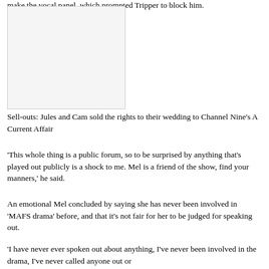make the vocal panel, which prompted Tripper to block him.
[Figure (photo): A photograph of Jules and Cam at their wedding]
Sell-outs: Jules and Cam sold the rights to their wedding to Channel Nine's A Current Affair
'This whole thing is a public forum, so to be surprised by anything that's played out publicly is a shock to me. Mel is a friend of the show, find your manners,' he said.
An emotional Mel concluded by saying she has never been involved in 'MAFS drama' before, and that it's not fair for her to be judged for speaking out.
'I have never ever spoken out about anything, I've never been involved in the drama, I've never called anyone out or done things along those lines and I should be free to...